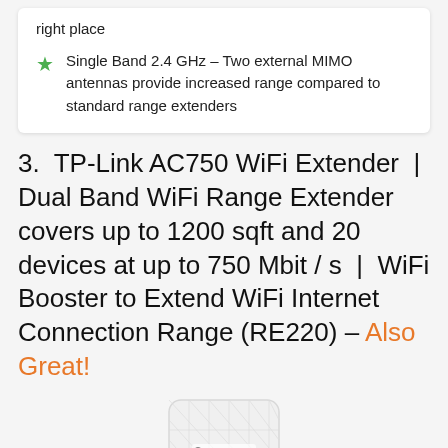right place
Single Band 2.4 GHz – Two external MIMO antennas provide increased range compared to standard range extenders
3. TP-Link AC750 WiFi Extender | Dual Band WiFi Range Extender covers up to 1200 sqft and 20 devices at up to 750 Mbit / s | WiFi Booster to Extend WiFi Internet Connection Range (RE220) – Also Great!
[Figure (photo): White TP-Link WiFi range extender device (RE220) with diamond pattern casing and TP-link logo]